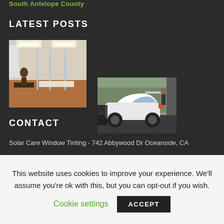South Antelope County
LATEST POSTS
[Figure (photo): Interior office photo showing glass partitions, desks, and overhead lighting]
[Figure (photo): Person working on a white sports car (Porsche) in a parking area]
CONTACT
Solar Care Window Tinting - 742 Abbywood Dr Oceanside, CA
This website uses cookies to improve your experience. We'll assume you're ok with this, but you can opt-out if you wish.
Cookie settings   ACCEPT